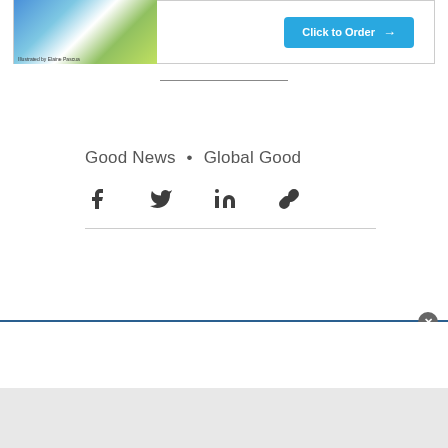[Figure (screenshot): Advertisement banner with illustrated children's book image on the left and a cyan 'Click to Order →' button on the right]
Good News • Global Good
[Figure (other): Social sharing icons: Facebook, Twitter, LinkedIn, and link/copy icon]
[Figure (screenshot): Bottom popup overlay with close button (×), white content area, and gray footer area]